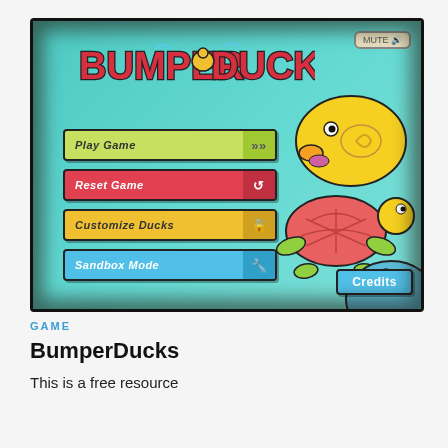[Figure (screenshot): BumperDucks game screenshot showing the main menu with Play Game, Reset Game, Customize Ducks, and Sandbox Mode buttons on a teal background with cartoon duck and turtle characters, and a Credits button in the bottom right.]
GAME
BumperDucks
This is a free resource